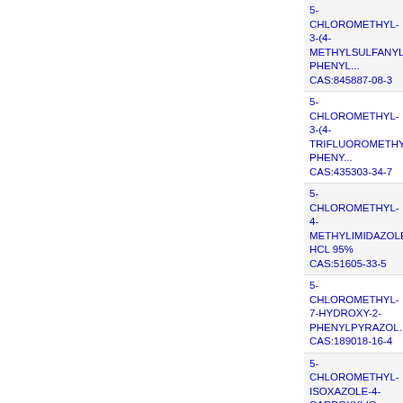5-CHLOROMETHYL-3-(4-METHYLSULFANYL-PHENYL... CAS:845887-08-3
5-CHLOROMETHYL-3-(4-TRIFLUOROMETHYL-PHENY... CAS:435303-34-7
5-CHLOROMETHYL-4-METHYLIMIDAZOLE HCL 95% CAS:51605-33-5
5-CHLOROMETHYL-7-HYDROXY-2-PHENYLPYRAZOL... CAS:189018-16-4
5-CHLOROMETHYL-ISOXAZOLE-4-CARBOXYLIC ACI... CAS:80196-63-0
5-CHLORONAPHTHALEN-1-AMINE 96% CAS:2750-80-3
5-CHLORONAPHTHALENE-1-CARBOXALDEHYDE 95... CAS:151222-57-0
5-CHLORONAPHTHALENE-1-SULFONYL CHLORIDE 9... CAS:6291-07-2
5-CHLORONAPHTHALENE-2-SULFONYL CHLORIDE 9... CAS:89108-45-2
5-CHLORONICOTINALDEHYDE 97% CAS:113118-82-4
5-CHLORONICOTINIC ACID 95%, FOR SYNTHESIS CAS:22620-27-5
5-CHLORONICOTINIC ACID 98% CAS:22620-27-5
5-CHLORONICOTINIC ACID 98.00% CAS:22620-27-5
5-CHLOROOXINDOLE 97% CAS:...